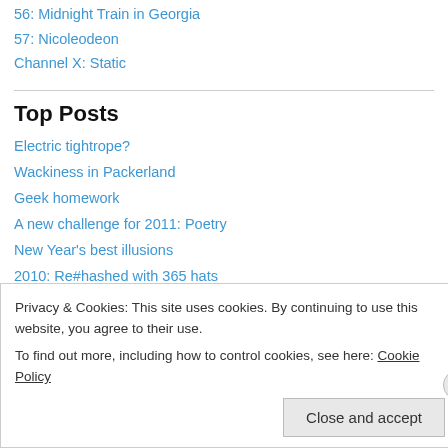56: Midnight Train in Georgia
57: Nicoleodeon
Channel X: Static
Top Posts
Electric tightrope?
Wackiness in Packerland
Geek homework
A new challenge for 2011: Poetry
New Year's best illusions
2010: Re#hashed with 365 hats
Magic and monsters
Privacy & Cookies: This site uses cookies. By continuing to use this website, you agree to their use. To find out more, including how to control cookies, see here: Cookie Policy
Close and accept